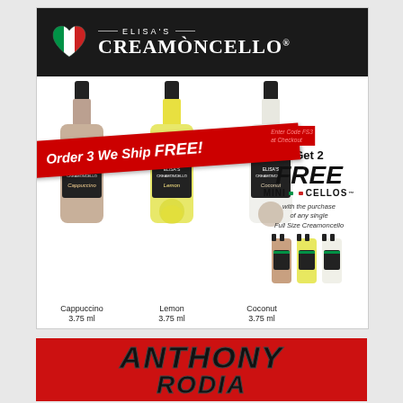[Figure (infographic): Elisa's Creamoncello advertisement showing three full-size bottles (Cappuccino, Lemon, Coconut 3.75 ml each) with a red banner 'Order 3 We Ship FREE! Enter Code FS3 at Checkout', and a promotion 'Get 2 FREE MINI CELLOS with the purchase of any single Full Size Creamoncello']
[Figure (infographic): Red advertisement banner showing 'ANTHONY RODIA' in large bold italic black text on red background]